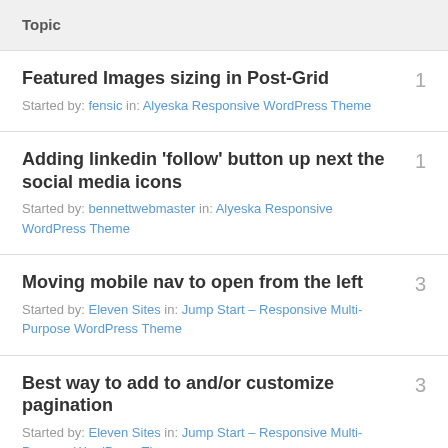Topic
Featured Images sizing in Post-Grid
Started by: fensic in: Alyeska Responsive WordPress Theme
1
Adding linkedin 'follow' button up next the social media icons
Started by: bennettwebmaster in: Alyeska Responsive WordPress Theme
1
Moving mobile nav to open from the left
Started by: Eleven Sites in: Jump Start – Responsive Multi-Purpose WordPress Theme
3
Best way to add to and/or customize pagination
Started by: Eleven Sites in: Jump Start – Responsive Multi-Purpose WordPress Theme
3